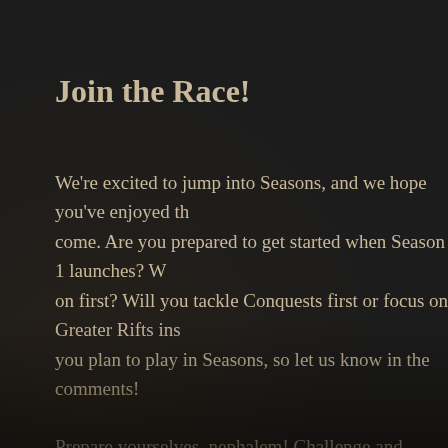Join the Race!
We're excited to jump into Seasons, and we hope you've enjoyed the content to come. Are you prepared to get started when Season 1 launches? What will you focus on first? Will you tackle Conquests first or focus on Greater Rifts instead? However you plan to play in Seasons, so let us know in the comments!
Prepare yourselves, nephalem! Challenge and reward await you!
[Figure (infographic): Decorative divider line with diamond/eye ornament in the center, dark gold/bronze color on dark background]
[Figure (infographic): Twitter Tweet button in blue with bird icon and 'Tweet' label]